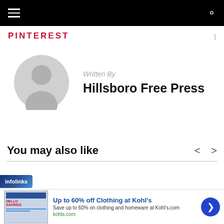PINTEREST
Written By
Hillsboro Free Press
You may also like
[Figure (other): Infolinks advertisement banner with Kohl's ad: Up to 60% off Clothing at Kohl's. Save up to 60% on clothing and homeware at Kohl's.com. kohls.com]
Up to 60% off Clothing at Kohl's
Save up to 60% on clothing and homeware at Kohl's.com
kohls.com